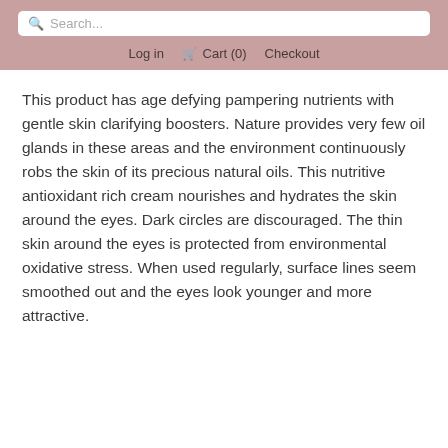Search... | Log in  Cart (0)  Checkout
This product has age defying pampering nutrients with gentle skin clarifying boosters. Nature provides very few oil glands in these areas and the environment continuously robs the skin of its precious natural oils. This nutritive antioxidant rich cream nourishes and hydrates the skin around the eyes. Dark circles are discouraged. The thin skin around the eyes is protected from environmental oxidative stress. When used regularly, surface lines seem smoothed out and the eyes look younger and more attractive.